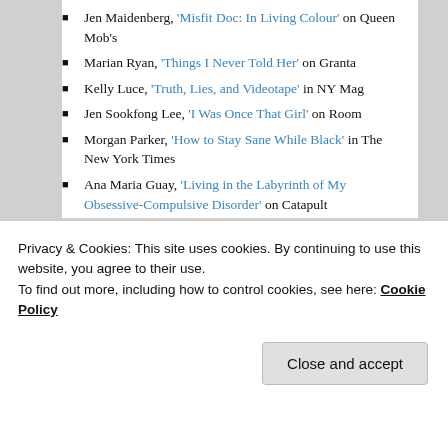Jen Maidenberg, 'Misfit Doc: In Living Colour' on Queen Mob's
Marian Ryan, 'Things I Never Told Her' on Granta
Kelly Luce, 'Truth, Lies, and Videotape' in NY Mag
Jen Sookfong Lee, 'I Was Once That Girl' on Room
Morgan Parker, 'How to Stay Sane While Black' in The New York Times
Ana Maria Guay, 'Living in the Labyrinth of My Obsessive-Compulsive Disorder' on Catapult
Elisabeth Sherman, 'Why I Never “Fixed” My Teeth' on Catapult
Evelyn Hampton, 'Weightlessness' on Catapult
Leah Kaminsky, 'Finding Love at the End of History' on Literary Hub
Privacy & Cookies: This site uses cookies. By continuing to use this website, you agree to their use.
To find out more, including how to control cookies, see here: Cookie Policy
Close and accept